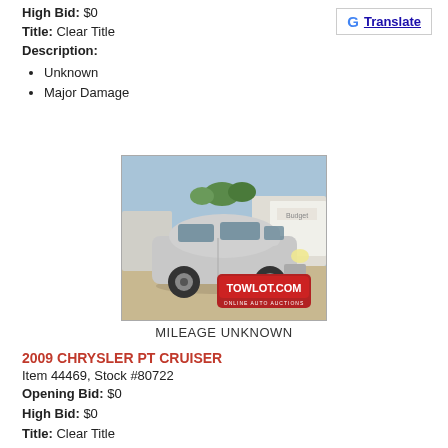High Bid: $0
Title: Clear Title
Description:
Unknown
Major Damage
[Figure (photo): Photo of a silver 2009 Chrysler PT Cruiser in a parking lot with a TOWLOT.COM ONLINE AUTO AUCTIONS watermark overlay]
MILEAGE UNKNOWN
2009 CHRYSLER PT CRUISER
Item 44469, Stock #80722
Opening Bid: $0
High Bid: $0
Title: Clear Title
Description:
Unknown